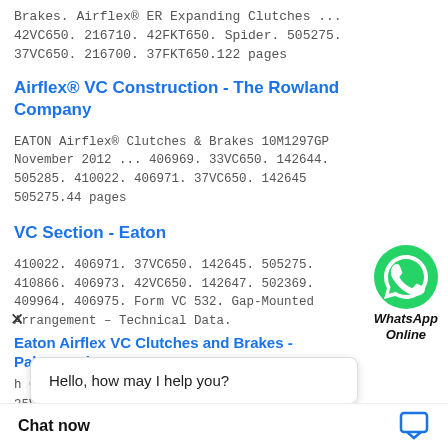Airflex® ER Expanding Clutches ... 42VC650. 216710. 42FKT650. Spider. 505275. 37VC650. 216700. 37FKT650.122 pages
Airflex® VC Construction - The Rowland Company
EATON Airflex® Clutches & Brakes 10M1297GP November 2012 ... 406969. 33VC650. 142644. 505285. 410022. 406971. 37VC650. 142645 505275.44 pages
VC Section - Eaton
410022. 406971. 37VC650. 142645. 505275. 410866. 406973. 42VC650. 142647. 502369. 409964. 406975. Form VC 532. Gap-Mounted Arrangement – Technical Data.
[Figure (screenshot): WhatsApp Online bubble icon with green WhatsApp logo and text 'WhatsApp Online']
Eaton Airflex VC Clutches and Brakes - Palmer Johnson
h Common Model 35VC650
Hello, how may I help you?
Chat now